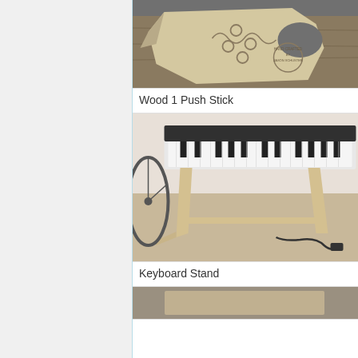[Figure (photo): Wood push stick with laser-engraved controller design and 'Hand Crafted by Jason Schuster' logo on wood background]
Wood 1 Push Stick
[Figure (photo): Wooden keyboard stand supporting a digital piano/keyboard, with pedal cable on carpeted floor]
Keyboard Stand
[Figure (photo): Partial view of another woodworking project item]